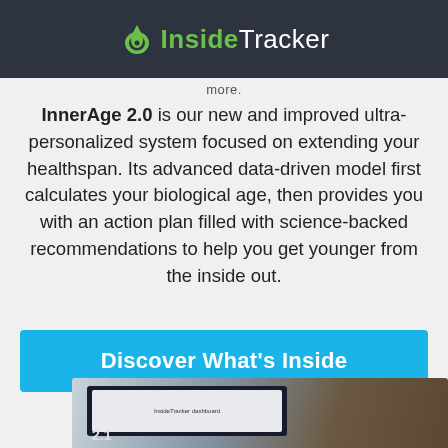InsideTracker
more.
InnerAge 2.0 is our new and improved ultra-personalized system focused on extending your healthspan. Its advanced data-driven model first calculates your biological age, then provides you with an action plan filled with science-backed recommendations to help you get younger from the inside out.
Discover What's Inside
[Figure (photo): A laptop or tablet showing the InsideTracker dashboard interface, partially visible at the bottom of the page]